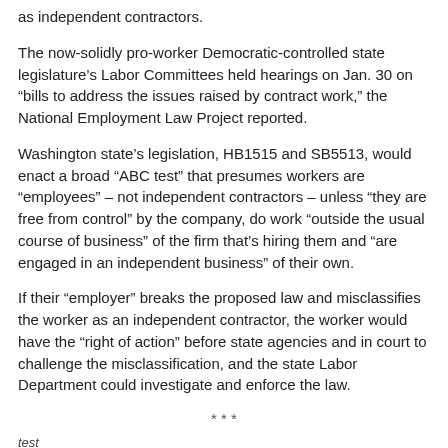as independent contractors.
The now-solidly pro-worker Democratic-controlled state legislature's Labor Committees held hearings on Jan. 30 on “bills to address the issues raised by contract work,” the National Employment Law Project reported.
Washington state’s legislation, HB1515 and SB5513, would enact a broad “ABC test” that presumes workers are “employees” – not independent contractors – unless “they are free from control” by the company, do work “outside the usual course of business” of the firm that’s hiring them and “are engaged in an independent business” of their own.
If their “employer” breaks the proposed law and misclassifies the worker as an independent contractor, the worker would have the “right of action” before state agencies and in court to challenge the misclassification, and the state Labor Department could investigate and enforce the law.
* * *
test